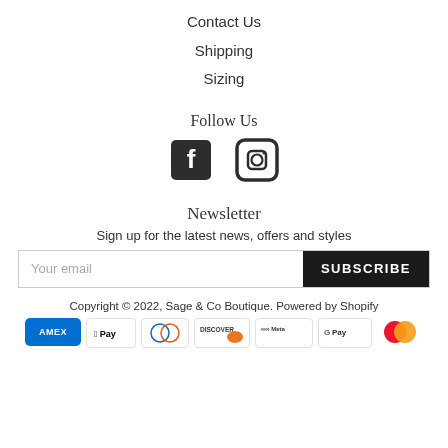Contact Us
Shipping
Sizing
Follow Us
[Figure (illustration): Facebook and Instagram social media icons]
Newsletter
Sign up for the latest news, offers and styles
Your email [input field] SUBSCRIBE [button]
Copyright © 2022, Sage & Co Boutique. Powered by Shopify
[Figure (illustration): Payment method icons: Amex, Apple Pay, Diners Club, Discover, Meta Pay, Google Pay, Mastercard, and more]